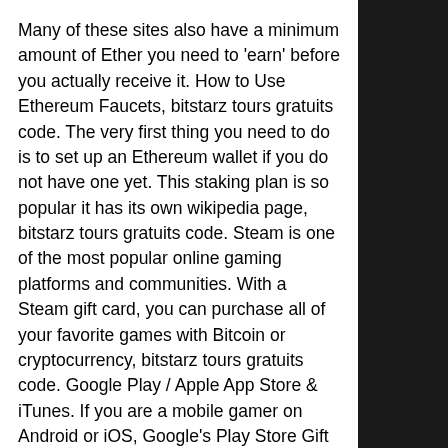Many of these sites also have a minimum amount of Ether you need to 'earn' before you actually receive it. How to Use Ethereum Faucets, bitstarz tours gratuits code. The very first thing you need to do is to set up an Ethereum wallet if you do not have one yet. This staking plan is so popular it has its own wikipedia page, bitstarz tours gratuits code. Steam is one of the most popular online gaming platforms and communities. With a Steam gift card, you can purchase all of your favorite games with Bitcoin or cryptocurrency, bitstarz tours gratuits code. Google Play / Apple App Store & iTunes. If you are a mobile gamer on Android or iOS, Google's Play Store Gift Cards and Apple's App Store & iTunes Gift Cards are avaialble in several regions so you can buy your favorite mobile games, movies, ebooks, and music for your device.
Bitstarz tesla